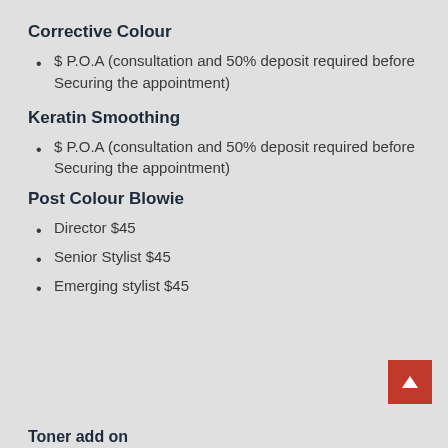Corrective Colour
$ P.O.A (consultation and 50% deposit required before Securing the appointment)
Keratin Smoothing
$ P.O.A (consultation and 50% deposit required before Securing the appointment)
Post Colour Blowie
Director $45
Senior Stylist $45
Emerging stylist $45
Toner add on